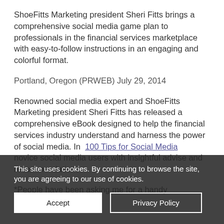ShoeFitts Marketing president Sheri Fitts brings a comprehensive social media game plan to professionals in the financial services marketplace with easy-to-follow instructions in an engaging and colorful format.
Portland, Oregon (PRWEB) July 29, 2014
Renowned social media expert and ShoeFitts Marketing president Sheri Fitts has released a comprehensive eBook designed to help the financial services industry understand and harness the power of social media. In 100 Tips for Social Media novice social media users with insightful advise and recommendations.
*People have been asking me for a handy
This site uses cookies. By continuing to browse the site, you are agreeing to our use of cookies.